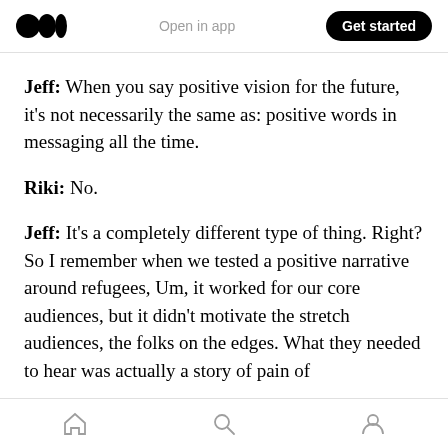Open in app  Get started
Jeff: When you say positive vision for the future, it's not necessarily the same as: positive words in messaging all the time.
Riki: No.
Jeff: It's a completely different type of thing. Right? So I remember when we tested a positive narrative around refugees, Um, it worked for our core audiences, but it didn't motivate the stretch audiences, the folks on the edges. What they needed to hear was actually a story of pain of
Home  Search  Profile